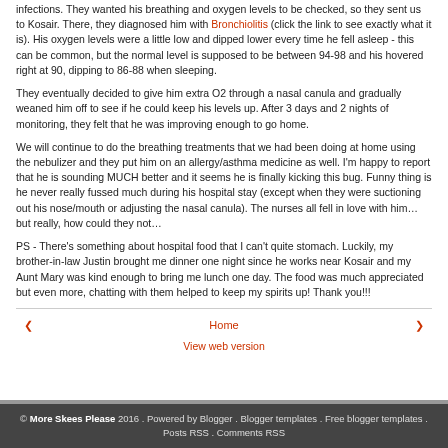infections. They wanted his breathing and oxygen levels to be checked, so they sent us to Kosair. There, they diagnosed him with Bronchiolitis (click the link to see exactly what it is). His oxygen levels were a little low and dipped lower every time he fell asleep - this can be common, but the normal level is supposed to be between 94-98 and his hovered right at 90, dipping to 86-88 when sleeping.
They eventually decided to give him extra O2 through a nasal canula and gradually weaned him off to see if he could keep his levels up. After 3 days and 2 nights of monitoring, they felt that he was improving enough to go home.
We will continue to do the breathing treatments that we had been doing at home using the nebulizer and they put him on an allergy/asthma medicine as well. I'm happy to report that he is sounding MUCH better and it seems he is finally kicking this bug. Funny thing is he never really fussed much during his hospital stay (except when they were suctioning out his nose/mouth or adjusting the nasal canula). The nurses all fell in love with him...but really, how could they not...
PS - There's something about hospital food that I can't quite stomach. Luckily, my brother-in-law Justin brought me dinner one night since he works near Kosair and my Aunt Mary was kind enough to bring me lunch one day. The food was much appreciated but even more, chatting with them helped to keep my spirits up! Thank you!!!
Home | View web version | © More Skees Please 2016. Powered by Blogger. Blogger templates. Free blogger templates. Posts RSS. Comments RSS